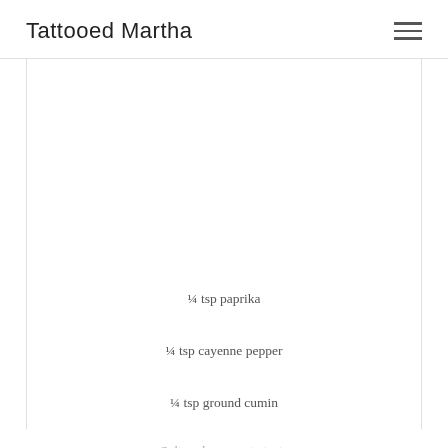Tattooed Martha
¼ tsp paprika
¼ tsp cayenne pepper
¼ tsp ground cumin
Salt and pepper to taste